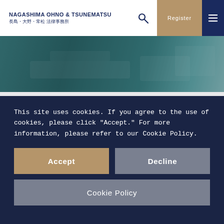NAGASHIMA OHNO & TSUNEMATSU 長島・大野・常松 法律事務所
[Figure (photo): Blurred hero image of a conference room or office setting with teal/green tones]
March 13, 2019 (Wed) 10:00 - 11:30
Digital Cartels and Algorithms in the Japanese context
This site uses cookies. If you agree to the use of cookies, please click "Accept." For more information, please refer to our Cookie Policy.